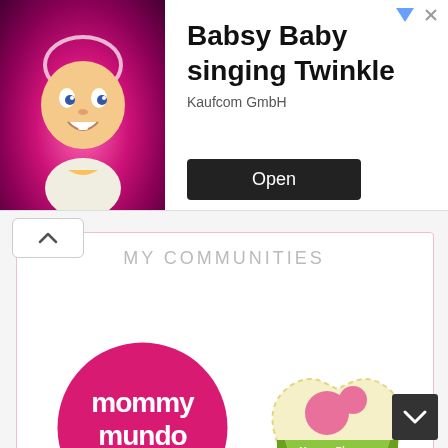[Figure (screenshot): Advertisement banner for 'Babsy Baby singing Twinkle' app by Kaufcom GmbH, featuring an animated baby character on a pink background, with an 'Open' button.]
MY COMMUNITIES
[Figure (logo): Mommy Mundo logo - white text on pink circle, www.mommymundo.com]
[Figure (logo): Mommy Bloggers Philippines logo - heart/cloud shape with green ribbon banner]